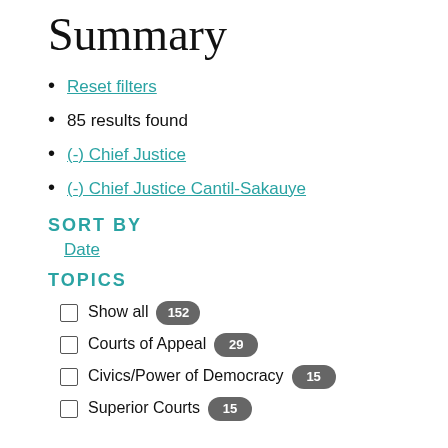Summary
Reset filters
85 results found
(-) Chief Justice
(-) Chief Justice Cantil-Sakauye
SORT BY
Date
TOPICS
Show all 152
Courts of Appeal 29
Civics/Power of Democracy 15
Superior Courts 15